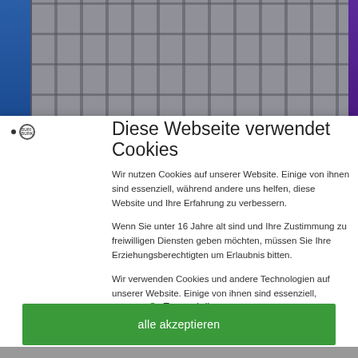[Figure (photo): Background photo of a multi-story building facade with grey tiling, overlaid with a dark translucent filter. Blue vertical bar on left, purple vertical bar on right.]
Diese Webseite verwendet Cookies
Wir nutzen Cookies auf unserer Website. Einige von ihnen sind essenziell, während andere uns helfen, diese Website und Ihre Erfahrung zu verbessern.
Wenn Sie unter 16 Jahre alt sind und Ihre Zustimmung zu freiwilligen Diensten geben möchten, müssen Sie Ihre Erziehungsberechtigten um Erlaubnis bitten.
Wir verwenden Cookies und andere Technologien auf unserer Website. Einige von ihnen sind essenziell, während andere uns helfen, diese Website und Ihre Erfahrung zu verbessern. Personenbezogene Daten können verarbeitet
Essenziell